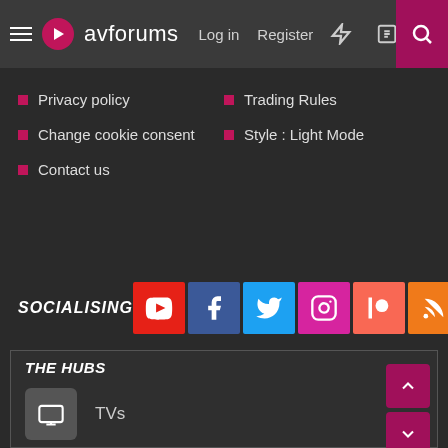avforums — Log in | Register
Privacy policy
Trading Rules
Change cookie consent
Style : Light Mode
Contact us
SOCIALISING
[Figure (infographic): Social media icons: YouTube, Facebook, Twitter, Instagram, Patreon, RSS]
THE HUBS
TVs
Home Cinema
Hi-Fi
Movies & TV Shows
Tech